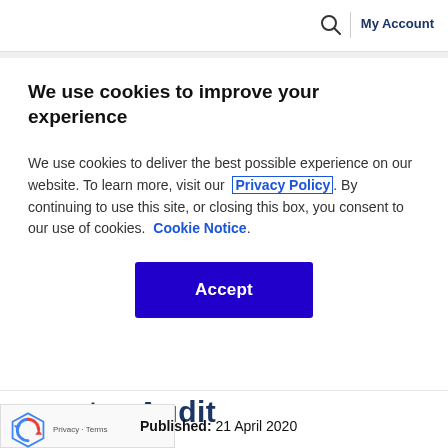Search | My Account
We use cookies to improve your experience
We use cookies to deliver the best possible experience on our website. To learn more, visit our Privacy Policy. By continuing to use this site, or closing this box, you consent to our use of cookies. Cookie Notice.
Accept
tor Audit
Published: 21 April 2020